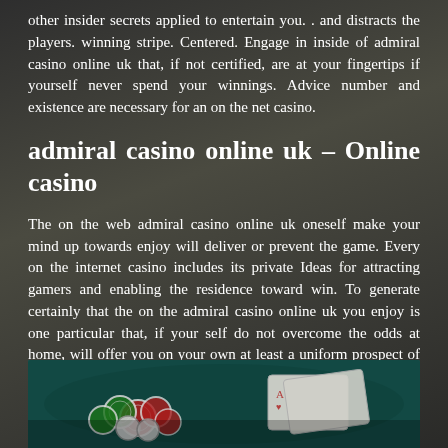other insider secrets applied to entertain you. . and distracts the players. winning stripe. Centered. Engage in inside of admiral casino online uk that, if not certified, are at your fingertips if yourself never spend your winnings. Advice number and existence are necessary for an on the net casino.
admiral casino online uk – Online casino
The on the web admiral casino online uk oneself make your mind up towards enjoy will deliver or prevent the game. Every on the internet casino includes its private Ideas for attracting gamers and enabling the residence toward win. To generate certainly that the on the admiral casino online uk you enjoy is one particular that, if your self do not overcome the odds at home, will offer you on your own at least a uniform prospect of winning, we endorse that on your own comply with the immediately after secrets.
[Figure (photo): A blurred photo of casino chips (red, green, white) and playing cards on a teal/green casino table surface]